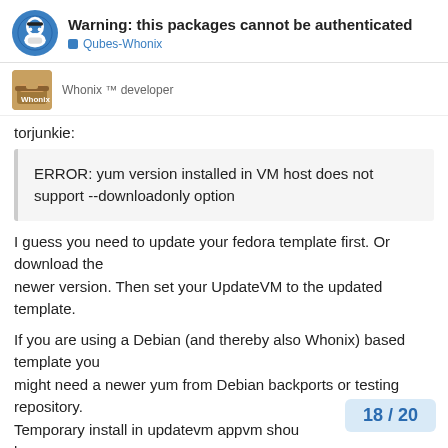Warning: this packages cannot be authenticated | Qubes-Whonix
Whonix ™ developer
torjunkie:
ERROR: yum version installed in VM host does not support --downloadonly option
I guess you need to update your fedora template first. Or download the newer version. Then set your UpdateVM to the updated template.

If you are using a Debian (and thereby also Whonix) based template you might need a newer yum from Debian backports or testing repository.
Temporary install in updatevm appvm shou by me.
18 / 20